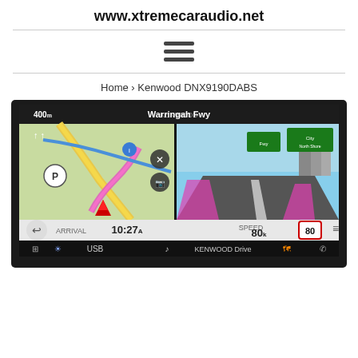www.xtremecaraudio.net
Home › Kenwood DNX9190DABS
[Figure (screenshot): Kenwood DNX9190DABS car navigation unit screen showing split view: left side displays a GPS map with route highlighted in orange/pink near Warringah Fwy with distance 400m, time 10:274, and parking icon; right side shows a real-world camera/3D view of the same road with speed 80 and limit 80 signs, KENWOOD Drive logo at the bottom, USB and phone icons.]